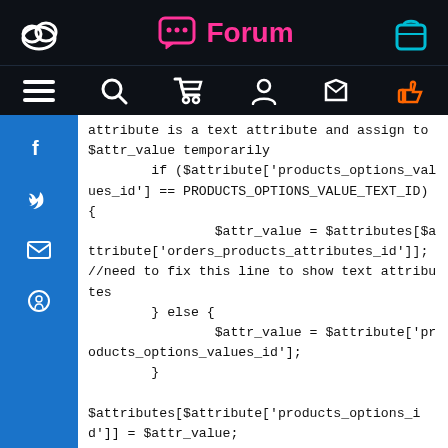Forum
attribute is a text attribute and assign to $attr_value temporarily
        if ($attribute['products_options_values_id'] == PRODUCTS_OPTIONS_VALUE_TEXT_ID) {
                $attr_value = $attributes[$attribute['orders_products_attributes_id']];  //need to fix this line to show text attributes
        } else {
                $attr_value = $attribute['products_options_values_id'];
        }

$attributes[$attribute['products_options_id']] = $attr_value;